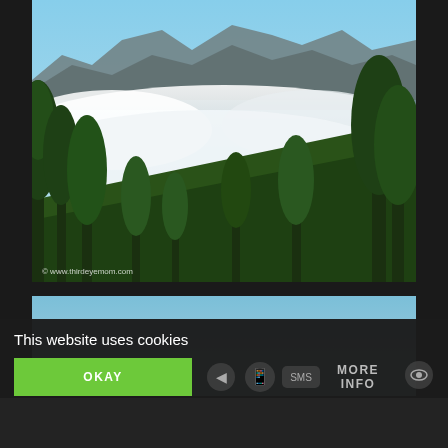[Figure (photo): Mountain landscape with fog/clouds rolling over green tree-covered hillside, rocky peaks visible above, blue sky. Watermark: © www.thirdeyemom.com]
[Figure (photo): Second photo partially visible, showing bright blue sky]
This website uses cookies
OKAY
MORE INFO